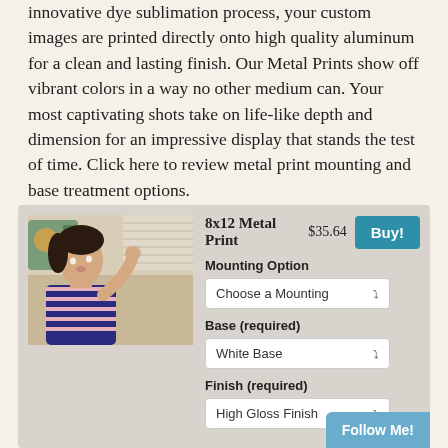innovative dye sublimation process, your custom images are printed directly onto high quality aluminum for a clean and lasting finish. Our Metal Prints show off vibrant colors in a way no other medium can. Your most captivating shots take on life-like depth and dimension for an impressive display that stands the test of time. Click here to review metal print mounting and base treatment options.
[Figure (photo): Product card showing an 8x12 Metal Print with a photo of a woman, price $35.64, Buy button, and dropdowns for Mounting Option (Choose a Mounting), Base (required) (White Base), and Finish (required) (High Gloss Finish). A Follow Me! button appears bottom right.]